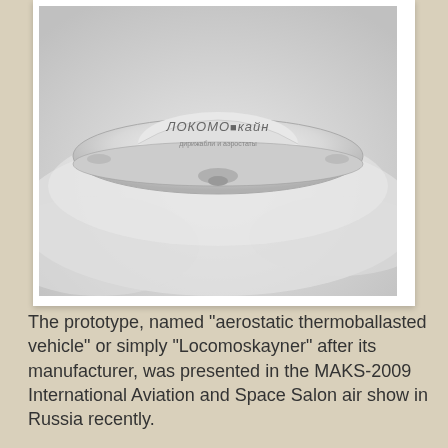[Figure (photo): Black and white photograph of a flying saucer-shaped aircraft (aerostatic thermoballasted vehicle / Locomoskayner) with a Cyrillic logo text on it, shown against a white cloudy background.]
The prototype, named "aerostatic thermoballasted vehicle" or simply "Locomoskayner" after its manufacturer, was presented in the MAKS-2009 International Aviation and Space Salon air show in Russia recently.
This prototype flying saucer was 23 feet in diameter, and was claimed to be able to transport 20 kg of cargo.
The company, however, plans to produce aircraft with a cargo-carrying capacity of up to 600 metric tons or a passenger capacity of up to 11,000 people.
Having low fuel consumption as compared to ordinary aircraft due to its aerodynamic form, the flying saucer will b...